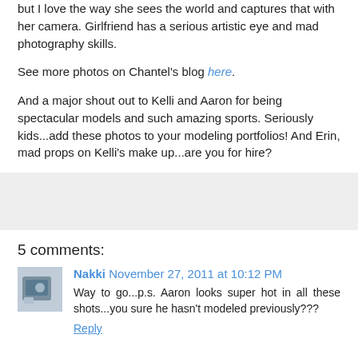but I love the way she sees the world and captures that with her camera. Girlfriend has a serious artistic eye and mad photography skills.
See more photos on Chantel's blog here.
And a major shout out to Kelli and Aaron for being spectacular models and such amazing sports. Seriously kids...add these photos to your modeling portfolios! And Erin, mad props on Kelli's make up...are you for hire?
[Figure (other): Gray advertisement/placeholder block]
5 comments:
Nakki November 27, 2011 at 10:12 PM
Way to go...p.s. Aaron looks super hot in all these shots...you sure he hasn't modeled previously???
Reply